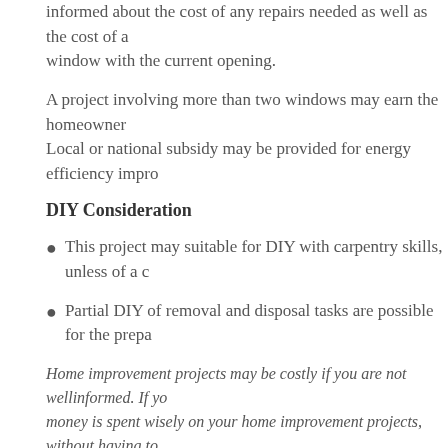informed about the cost of any repairs needed as well as the cost of a window with the current opening.
A project involving more than two windows may earn the homeowner Local or national subsidy may be provided for energy efficiency impro
DIY Consideration
This project may suitable for DIY with carpentry skills, unless of a c
Partial DIY of removal and disposal tasks are possible for the prepa
Home improvement projects may be costly if you are not wellinformed. If yo money is spent wisely on your home improvement projects, without having to visit howmuch.net for more information.
Posted in: Uncategorized
Stocking the Garage for Spring